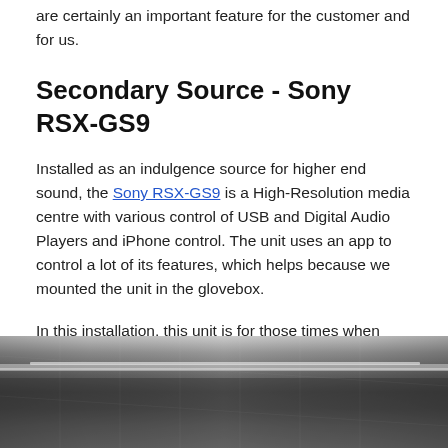The Alpine unit retains the Safe-Seat control features which are certainly an important feature for the customer and for us.
Secondary Source - Sony RSX-GS9
Installed as an indulgence source for higher end sound, the Sony RSX-GS9 is a High-Resolution media centre with various control of USB and Digital Audio Players and iPhone control. The unit uses an app to control a lot of its features, which helps because we mounted the unit in the glovebox.
In this installation, this unit is for those times when you're on your own. Therefore, the functionality is secondary, but most importantly, you want to listen to your music with the purest signal path.
[Figure (photo): Black and white close-up photo of a car interior, showing a carbon fiber trim panel detail, likely the glovebox or dashboard area.]